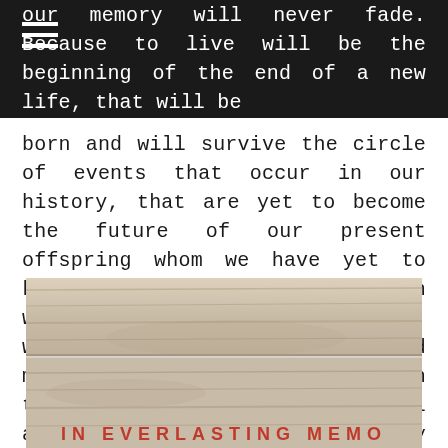our memory will never fade. Because to live will be the beginning of the end of a new life, that will be
born and will survive the circle of events that occur in our history, that are yet to become the future of our present offspring whom we have yet to know but will have always known when they enter this life, whether or not it be one thousand miles from where you gave birth to them, because they will travel and journey and wander until they make it back to the source of your stream. They will return in different form but will always be the remnants of your soul.
[Figure (photo): Photograph of a wooden surface or gravestone/memorial plaque with text 'IN EVERLASTING MEMORY' partially visible at the bottom in red/rust colored letters]